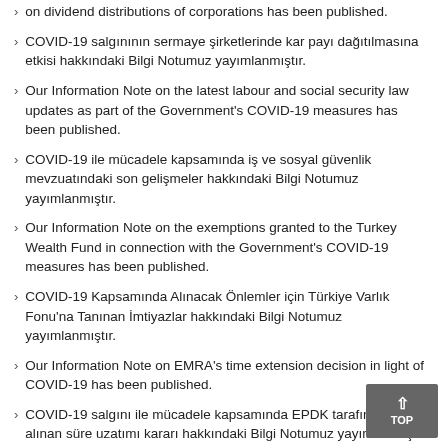on dividend distributions of corporations has been published.
COVID-19 salgınının sermaye şirketlerinde kar payı dağıtılmasına etkisi hakkındaki Bilgi Notumuz yayımlanmıştır.
Our Information Note on the latest labour and social security law updates as part of the Government's COVID-19 measures has been published.
COVID-19 ile mücadele kapsamında iş ve sosyal güvenlik mevzuatındaki son gelişmeler hakkındaki Bilgi Notumuz yayımlanmıştır.
Our Information Note on the exemptions granted to the Turkey Wealth Fund in connection with the Government's COVID-19 measures has been published.
COVID-19 Kapsamında Alınacak Önlemler için Türkiye Varlık Fonu'na Tanınan İmtiyazlar hakkındaki Bilgi Notumuz yayımlanmıştır.
Our Information Note on EMRA's time extension decision in light of COVID-19 has been published.
COVID-19 salgını ile mücadele kapsamında EPDK tarafından alınan süre uzatımı kararı hakkındaki Bilgi Notumuz yayımlanmıştır.